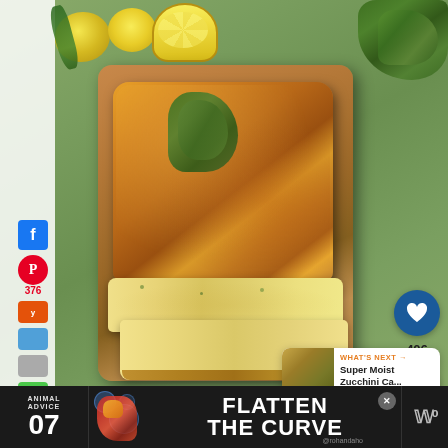[Figure (photo): Overhead food photography of a zucchini lemon thyme bread loaf on a wooden cutting board, with slices cut in front, lemons and fresh herbs surrounding it on a green linen background. Social sharing buttons on left (Facebook, Pinterest 376, Yummly, email, print). Heart button (406) and share button on right. 'What's Next' panel showing Super Moist Zucchini Ca...]
376
406
WHAT'S NEXT → Super Moist Zucchini Ca...
ANIMAL ADVICE 07 FLATTEN THE CURVE @rohandaho